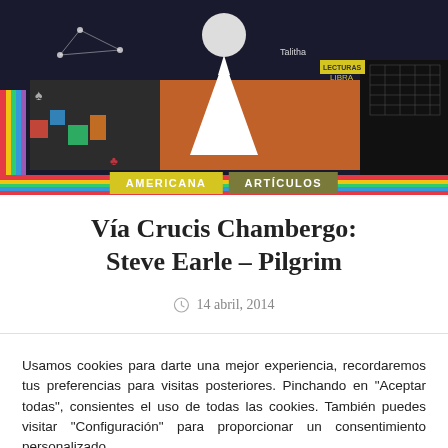[Figure (illustration): Colorful collage-style illustration with dark background showing various graphic elements, text fragments like 'Talitha', 'LIBRA', a white mountain/volcano shape, playing card suits, geometric patterns, and multicolored stripes along the bottom and left edges.]
AMERICANA
ARTÍCULOS
Vía Crucis Chambergo: Steve Earle – Pilgrim
14 abril, 2014
Usamos cookies para darte una mejor experiencia, recordaremos tus preferencias para visitas posteriores. Pinchando en "Aceptar todas", consientes el uso de todas las cookies. También puedes visitar "Configuración" para proporcionar un consentimiento personalizado.
Configuración
Aceptar todo